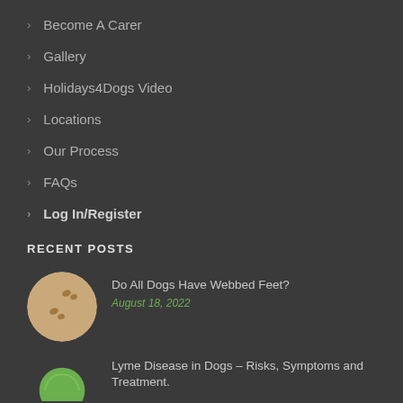Become A Carer
Gallery
Holidays4Dogs Video
Locations
Our Process
FAQs
Log In/Register
RECENT POSTS
Do All Dogs Have Webbed Feet?
August 18, 2022
Lyme Disease in Dogs – Risks, Symptoms and Treatment.